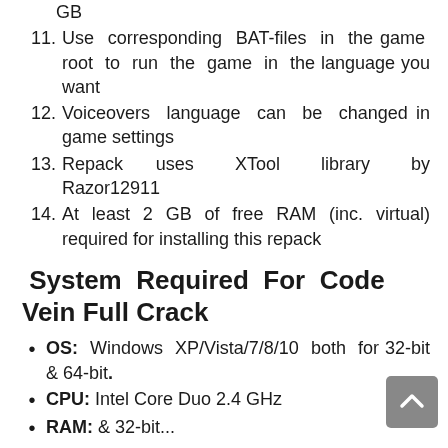GB
11. Use corresponding BAT-files in the game root to run the game in the language you want
12. Voiceovers language can be changed in game settings
13. Repack uses XTool library by Razor12911
14. At least 2 GB of free RAM (inc. virtual) required for installing this repack
System Required For Code Vein Full Crack
OS: Windows XP/Vista/7/8/10 both for 32-bit & 64-bit.
CPU: Intel Core Duo 2.4 GHz
RAM: & 32-bit...